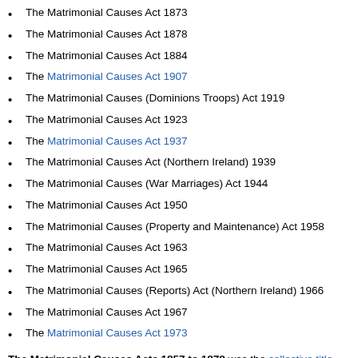The Matrimonial Causes Act 1873
The Matrimonial Causes Act 1878
The Matrimonial Causes Act 1884
The Matrimonial Causes Act 1907
The Matrimonial Causes (Dominions Troops) Act 1919
The Matrimonial Causes Act 1923
The Matrimonial Causes Act 1937
The Matrimonial Causes Act (Northern Ireland) 1939
The Matrimonial Causes (War Marriages) Act 1944
The Matrimonial Causes Act 1950
The Matrimonial Causes (Property and Maintenance) Act 1958
The Matrimonial Causes Act 1963
The Matrimonial Causes Act 1965
The Matrimonial Causes (Reports) Act (Northern Ireland) 1966
The Matrimonial Causes Act 1967
The Matrimonial Causes Act 1973
The Matrimonial Causes Acts 1857 to 1878 was the collective title of the following Acts:[1]
The Matrimonial Causes Act 1857 (20 & 21 Vict c 85)